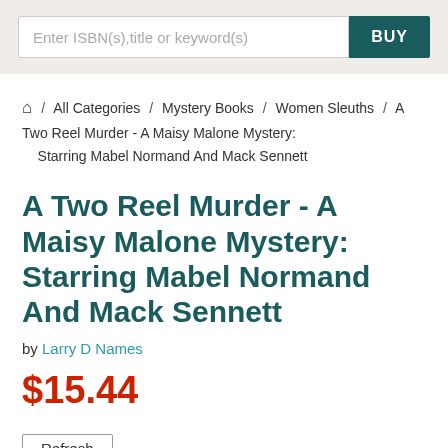[Figure (screenshot): Search bar with placeholder text 'Enter ISBN(s),title or keyword(s)' and a dark teal BUY button]
⌂ / All Categories / Mystery Books / Women Sleuths / A Two Reel Murder - A Maisy Malone Mystery: Starring Mabel Normand And Mack Sennett
A Two Reel Murder - A Maisy Malone Mystery: Starring Mabel Normand And Mack Sennett
by Larry D Names
$15.44
Refresh